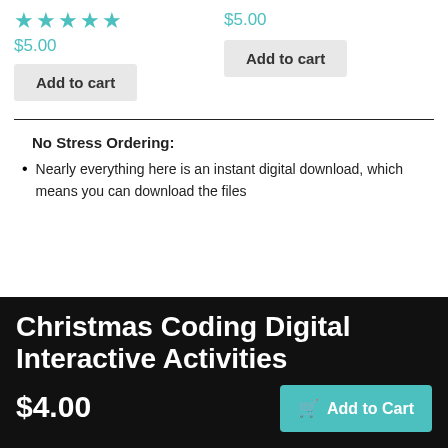★★★★★
$5.00
$5.00
Add to cart
Add to cart
No Stress Ordering:
Nearly everything here is an instant digital download, which means you can download the files
Christmas Coding Digital Interactive Activities
$4.00
Add to Cart